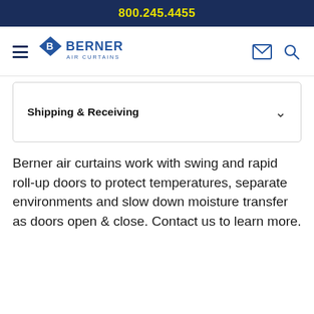800.245.4455
[Figure (logo): Berner Air Curtains logo with diamond shape and navigation icons]
Shipping & Receiving
Berner air curtains work with swing and rapid roll-up doors to protect temperatures, separate environments and slow down moisture transfer as doors open & close. Contact us to learn more.